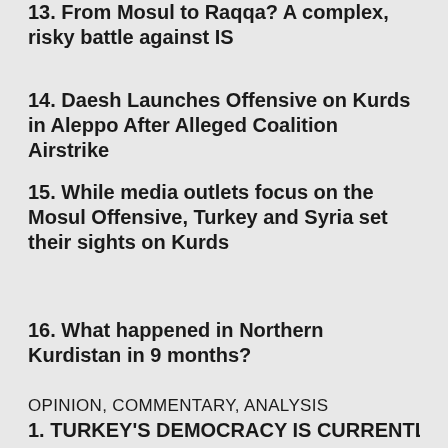13. From Mosul to Raqqa? A complex, risky battle against IS
14. Daesh Launches Offensive on Kurds in Aleppo After Alleged Coalition Airstrike
15. While media outlets focus on the Mosul Offensive, Turkey and Syria set their sights on Kurds
16. What happened in Northern Kurdistan in 9 months?
OPINION, COMMENTARY, ANALYSIS
1. TURKEY'S DEMOCRACY IS CURRENTLY LOSING ITS WAY
2. What if the PKK wins in Turkey?
3. US Allies are Funding ISIS (and Hillary Knew